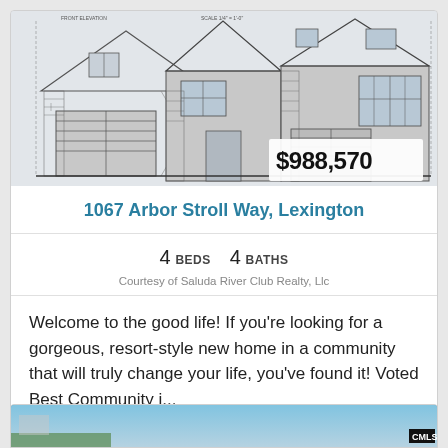[Figure (engineering-diagram): Architectural front elevation blueprint drawing of a house with garage, showing detailed line art in blue/gray pencil style, with a price badge overlay showing $988,570]
1067 Arbor Stroll Way, Lexington
4 BEDS    4 BATHS
Courtesy of Saluda River Club Realty, Llc
Welcome to the good life! If you're looking for a gorgeous, resort-style new home in a community that will truly change your life, you've found it! Voted Best Community i...
[Figure (photo): Partial photo of another property listing, showing sky and landscape, with CMLS logo badge]